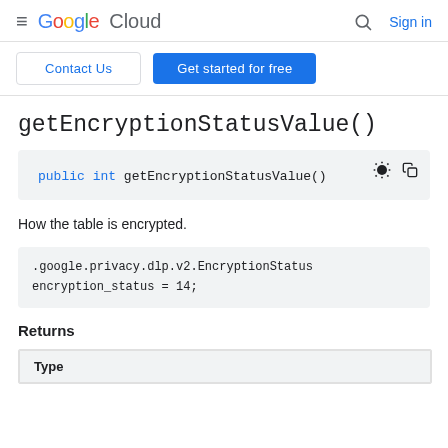Google Cloud — Sign in
Contact Us | Get started for free
getEncryptionStatusValue()
How the table is encrypted.
Returns
| Type |
| --- |